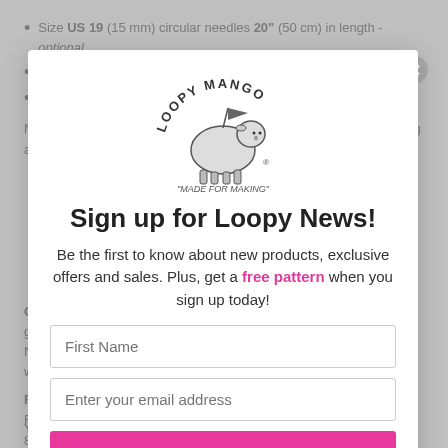Size US 19 (15 mm) circular needles 20" (50 cm) in length - optional
Pattern
Loopy Mango products
NOTE: A tapestry needle may be helpful when seaming and securing all loose ends.
Care: Dry clean or hand wash cold. Lay flat to dry. Please test garment washing instructions on a swatch to ensure it doesn't felt. Note that exposing wool to heat (hot water) or agitation (machine washing) will cause it to felt.
Fiber Content Note: Merino No. 5 TWEED colors Blacksmith, Flamingo, Blue Lagoon and Stardust have different fiber content: 80% Merino Wool, 14% Wool, 6% Viscose
Yarn made in Italy, kit assembled in the USA.
[Figure (logo): Loopy Mango logo with sheep illustration and text 'MADE FOR MAKING']
Sign up for Loopy News!
Be the first to know about new products, exclusive offers and sales. Plus, get a free pattern when you sign up today!
First Name
Enter your email address
Subscribe